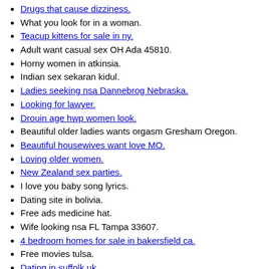Drugs that cause dizziness.
What you look for in a woman.
Teacup kittens for sale in ny.
Adult want casual sex OH Ada 45810.
Horny women in atkinsia.
Indian sex sekaran kidul.
Ladies seeking nsa Dannebrog Nebraska.
Looking for lawyer.
Drouin age hwp women look.
Beautiful older ladies wants orgasm Gresham Oregon.
Beautiful housewives want love MO.
Loving older women.
New Zealand sex parties.
I love you baby song lyrics.
Dating site in bolivia.
Free ads medicine hat.
Wife looking nsa FL Tampa 33607.
4 bedroom homes for sale in bakersfield ca.
Free movies tulsa.
Dating in suffolk uk.
Apartments in downtown san jose ca.
Hook up headphones to pc.
Sexy girl on brookside ln.
Meetup birmingham al.
How to impress a polish woman.